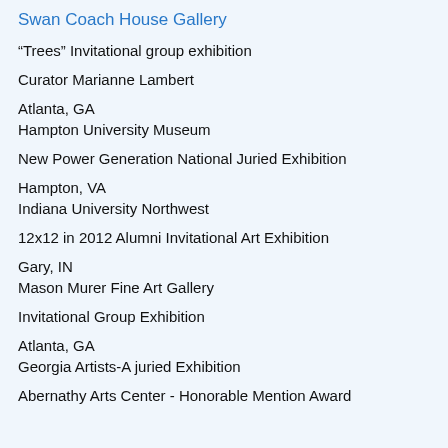Swan Coach House Gallery
“Trees” Invitational group exhibition
Curator Marianne Lambert
Atlanta, GA
Hampton University Museum
New Power Generation National Juried Exhibition
Hampton, VA
Indiana University Northwest
12x12 in 2012 Alumni Invitational Art Exhibition
Gary, IN
Mason Murer Fine Art Gallery
Invitational Group Exhibition
Atlanta, GA
Georgia Artists-A juried Exhibition
Abernathy Arts Center - Honorable Mention Award